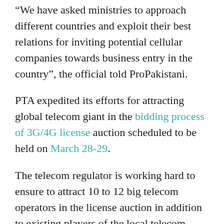“We have asked ministries to approach different countries and exploit their best relations for inviting potential cellular companies towards business entry in the country”, the official told ProPakistani.
PTA expedited its efforts for attracting global telecom giant in the bidding process of 3G/4G license auction scheduled to be held on March 28-29.
The telecom regulator is working hard to ensure to attract 10 to 12 big telecom operators in the license auction in addition to existing players of the local telecom sector who in the majority have shown their keen interest to be the part of the process.